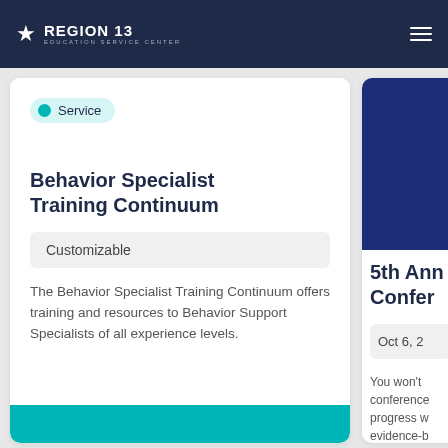REGION 13 EDUCATION SERVICE CENTER
Service
Behavior Specialist Training Continuum
Customizable
The Behavior Specialist Training Continuum offers training and resources to Behavior Support Specialists of all experience levels.
Confer
5th Ann Conference
Oct 6, 2
You won't conference progress w evidence-b